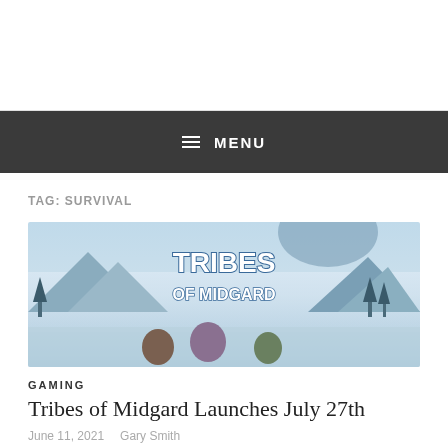≡ MENU
TAG: SURVIVAL
[Figure (photo): Tribes of Midgard game banner showing characters in a snowy landscape with title text 'TRIBES OF MIDGARD']
GAMING
Tribes of Midgard Launches July 27th
June 11, 2021   Gary Smith